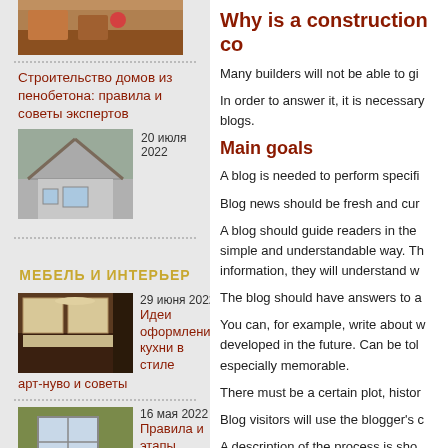[Figure (photo): Top image of house interior/exterior partial view]
Строительство домов из пенобетона: правила и советы экспертов
20 июля 2022
[Figure (photo): House under construction with wooden roof frame]
МЕБЕЛЬ И ИНТЕРЬЕР
29 июня 2022
[Figure (photo): Kitchen interior in art nouveau style]
Идеи оформления кухни в стиле арт-нуво и советы
16 мая 2022
[Figure (photo): Window installation in house]
Правила и этапы установки пластикового окна в доме
Why is a construction co
Many builders will not be able to gi
In order to answer it, it is necessary blogs.
Main goals
A blog is needed to perform specifi
Blog news should be fresh and cur
A blog should guide readers in the simple and understandable way. Th information, they will understand w
The blog should have answers to a
You can, for example, write about w developed in the future. Can be tol especially memorable.
There must be a certain plot, histor
Blog visitors will use the blogger's c
A description of the process is sho particular case.